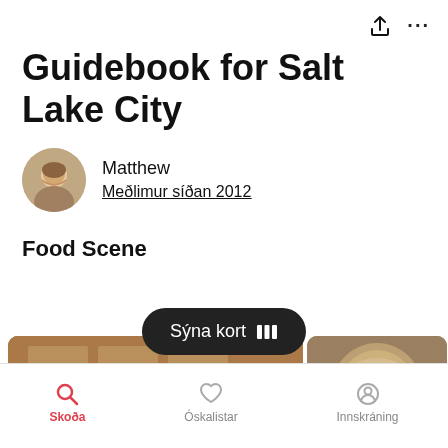[Figure (screenshot): Top bar with share icon and more options (ellipsis)]
Guidebook for Salt Lake City
[Figure (photo): Circular avatar photo of Matthew, a young man smiling]
Matthew
Meðlimur síðan 2012
Food Scene
[Figure (infographic): Dark pill-shaped button reading 'Sýna kort' with a map/grid icon]
[Figure (photo): Photo of a brick building with a sign reading MUSHROOM]
[Figure (photo): Photo of a pizza with toppings]
Skoða  Óskalistar  Innskráning